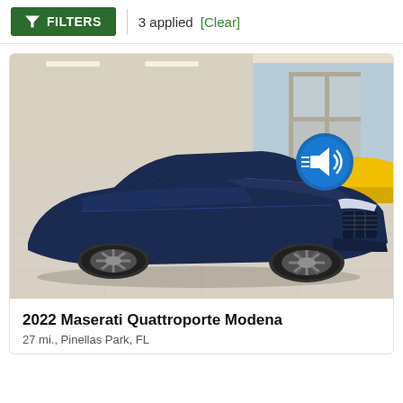FILTERS  |  3 applied  [Clear]
[Figure (photo): Photo of a 2022 Maserati Quattroporte Modena in dark blue, taken inside a dealership showroom. A yellow car is visible in the background. A blue speaker/audio icon button is overlaid in the upper right area of the image.]
2022 Maserati Quattroporte Modena
27 mi., Pinellas Park, FL